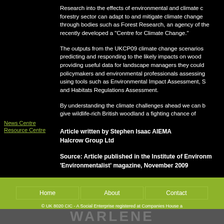Research into the effects of environmental and climate c... forestry sector can adapt to and mitigate climate change through bodies such as Forest Research, an agency of the... recently developed a "Centre for Climate Change."
The outputs from the UKCP09 climate change scenarios predicting and responding to the likely impacts on wood... providing useful data for landscape managers they could policymakers and environmental professionals assessing using tools such as Environmental Impact Assessment, S... and Habitats Regulations Assessment.
By understanding the climate challenges ahead we can b... give wildlife-rich British woodland a fighting chance of
Article written by Stephen Isaac AIEMA
Halcrow Group Ltd
News Centre
Resource Centre
Source: Article published in the Institute of Environm... 'Environmentalist' magazine, November 2009
Home  About  Contact
© UK 8020 CIC - A Social Enterprise registered at Companies House a...